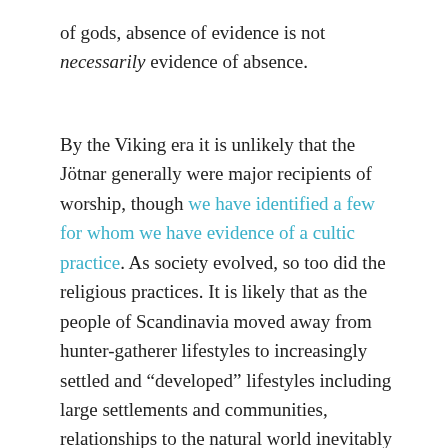of gods, absence of evidence is not necessarily evidence of absence.
By the Viking era it is unlikely that the Jötnar generally were major recipients of worship, though we have identified a few for whom we have evidence of a cultic practice. As society evolved, so too did the religious practices. It is likely that as the people of Scandinavia moved away from hunter-gatherer lifestyles to increasingly settled and “developed” lifestyles including large settlements and communities, relationships to the natural world inevitably changed. It is likely that as the need to appeal directly to the forces of nature waned with the advent of agriculture and increasingly developed technology, so too did the